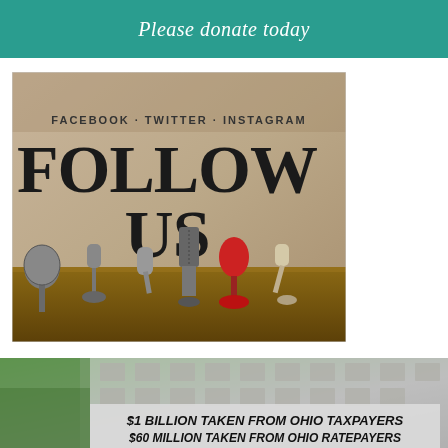Please donate today
[Figure (photo): Vintage microphones with text FOLLOW US and FACEBOOK · TWITTER · INSTAGRAM above]
[Figure (photo): Building exterior with overlay text: $1 BILLION TAKEN FROM OHIO TAXPAYERS / $60 MILLION TAKEN FROM OHIO RATEPAYERS]